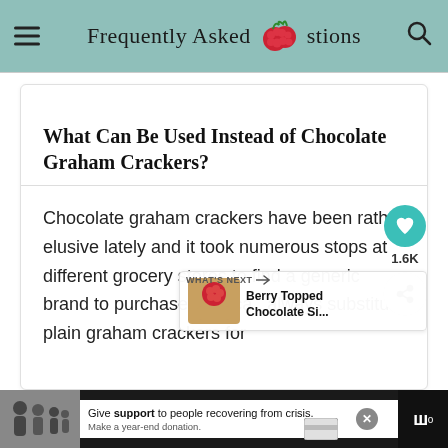Frequently Asked Questions
What Can Be Used Instead of Chocolate Graham Crackers?
Chocolate graham crackers have been rather elusive lately and it took numerous stops at different grocery stores to find a generic brand to purchase. You can always substitute plain graham crackers for a non-chocolate crust, and there are
Give support to people recovering from crisis. Make a year-end donation.